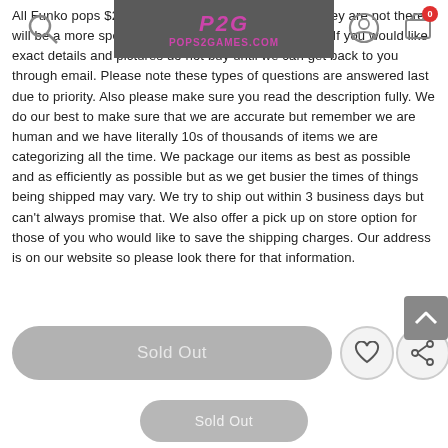P2G POPS2GAMES.COM [search icon] [user icon] [cart icon with badge 0]
All Funko pops $20 and under are at least 8 of 10 if they are not there will be a more specific damage description in the title. If you would like exact details and pictures do not buy until we can get back to you through email. Please note these types of questions are answered last due to priority. Also please make sure you read the description fully. We do our best to make sure that we are accurate but remember we are human and we have literally 10s of thousands of items we are categorizing all the time. We package our items as best as possible and as efficiently as possible but as we get busier the times of things being shipped may vary. We try to ship out within 3 business days but can't always promise that. We also offer a pick up on store option for those of you who would like to save the shipping charges. Our address is on our website so please look there for that information.
[Figure (other): Sold Out button (large rounded gray button)]
[Figure (other): Wishlist heart icon button (circular)]
[Figure (other): Share icon button (circular)]
[Figure (other): Sold Out footer button (smaller rounded gray)]